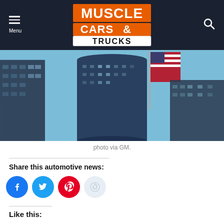Muscle Cars & Trucks
[Figure (photo): Tall glass skyscraper buildings with an American flag flying between them against a blue sky. Photo via GM.]
photo via GM.
Share this automotive news:
Like this: